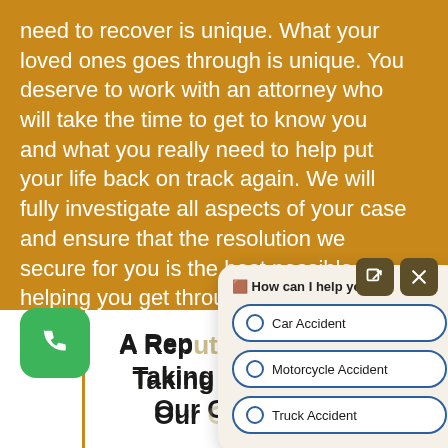need to recover is unique. What your loved ones goes through is unique. You deserve to work with an attorney who will take the time to get to know you and what you really need to help put your life back on track again. We will fully investigate all aspects of your case and ensure that the resolution we secure for you is the best possible at helping you get through these tough times.
[Figure (screenshot): Chat widget popup with header 'How can I help you?' and three radio button options: Car Accident, Motorcycle Accident, Truck Accident. Also two icon buttons (external link and close) in the top right corner.]
[Figure (illustration): Green rounded square phone call button with white telephone icon]
A Reputation For Taking Care Of Our Clients